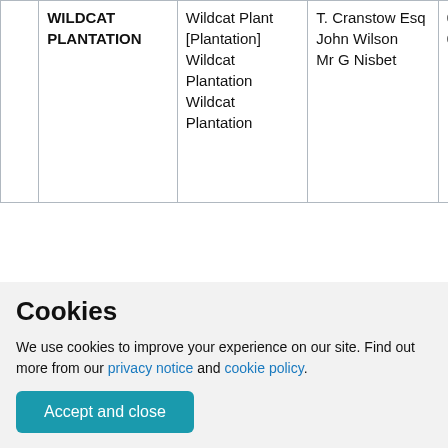|  | WILDCAT PLANTATION | Wildcat Plant [Plantation] Wildcat Plantation Wildcat Plantation | T. Cranstow Esq John Wilson Mr G Nisbet | 010.16 ; 011.13 | A small plantation chiefly [of] fir trees on the N. [North] side of the Ph [Parish] road leading from Chirnside to Preston A wide strip of |
| --- | --- | --- | --- | --- | --- |
|  | WILDCAT PLANTATION | Wildcat Plant [Plantation] Wildcat Plantation Wildcat Plantation | T. Cranstow Esq
John Wilson
Mr G Nisbet | 010.16 ; 011.13 | A small plantation chiefly [of] fir trees on the N. [North] side of the Ph [Parish] road leading from Chirnside to Preston A wide strip of |
Cookies
We use cookies to improve your experience on our site. Find out more from our privacy notice and cookie policy.
Accept and close